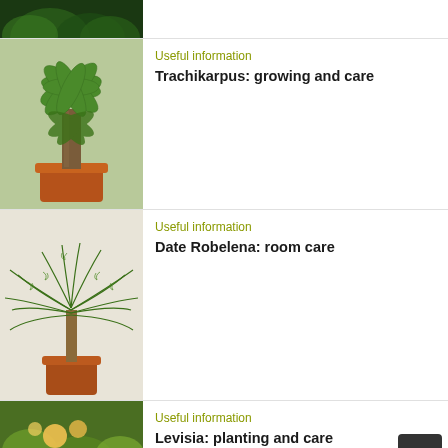[Figure (photo): Partial view of a plant with green leaves, top of card cut off]
[Figure (photo): Trachikarpus fan palm in a terracotta pot]
Useful information
Trachikarpus: growing and care
[Figure (photo): Date Robelena palm in a terracotta pot]
Useful information
Date Robelena: room care
[Figure (photo): Levisia plant with flowers in garden setting]
Useful information
Levisia: planting and care